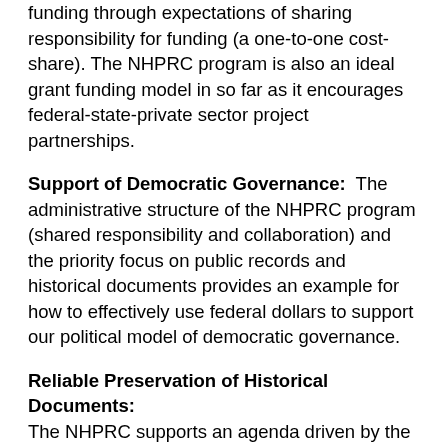funding through expectations of sharing responsibility for funding (a one-to-one cost-share). The NHPRC program is also an ideal grant funding model in so far as it encourages federal-state-private sector project partnerships.
Support of Democratic Governance:  The administrative structure of the NHPRC program (shared responsibility and collaboration) and the priority focus on public records and historical documents provides an example for how to effectively use federal dollars to support our political model of democratic governance.
Reliable Preservation of Historical Documents: The NHPRC supports an agenda driven by the expectations and values of citizens and archivists across the nation to identify, preserve, and make available our historical documents and public records